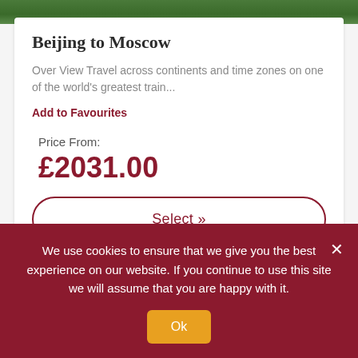[Figure (photo): Top portion of a travel card showing green foliage/nature scene, partially cropped]
Beijing to Moscow
Over View Travel across continents and time zones on one of the world's greatest train...
Add to Favourites
Price From:
£2031.00
Select »
[Figure (photo): Bottom travel card image showing golden spires/towers against a blue sky, partially cropped]
We use cookies to ensure that we give you the best experience on our website. If you continue to use this site we will assume that you are happy with it.
Ok